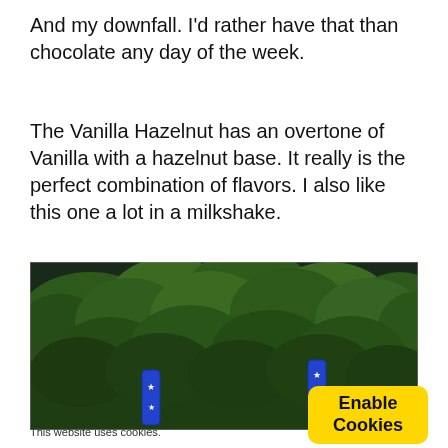And my downfall. I’d rather have that than chocolate any day of the week.
The Vanilla Hazelnut has an overtone of Vanilla with a hazelnut base. It really is the perfect combination of flavors. I also like this one a lot in a milkshake.
[Figure (photo): Outdoor photo of green pine/conifer trees with two blue cylindrical objects (appearing to have star patterns) visible in the foreground against the tree background.]
This website uses cookies.
Enable Cookies